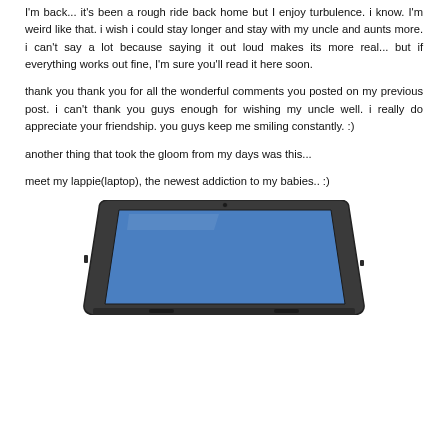I'm back... it's been a rough ride back home but I enjoy turbulence. i know. I'm weird like that. i wish i could stay longer and stay with my uncle and aunts more. i can't say a lot because saying it out loud makes its more real... but if everything works out fine, I'm sure you'll read it here soon.
thank you thank you for all the wonderful comments you posted on my previous post. i can't thank you guys enough for wishing my uncle well. i really do appreciate your friendship. you guys keep me smiling constantly. :)
another thing that took the gloom from my days was this...
meet my lappie(laptop), the newest addiction to my babies.. :)
[Figure (photo): A laptop computer shown from slightly above, with a blue screen, dark grey body and rounded corners, partially cropped at bottom of page.]